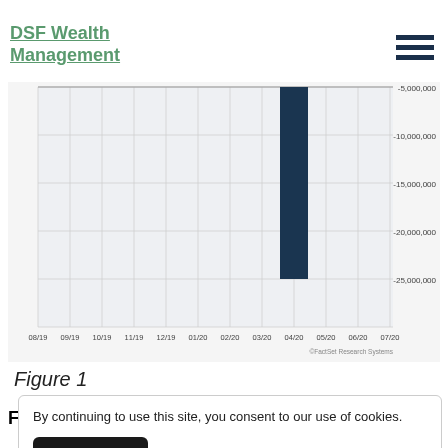DSF Wealth Management
[Figure (bar-chart): ]
Figure 1
By continuing to use this site, you consent to our use of cookies.